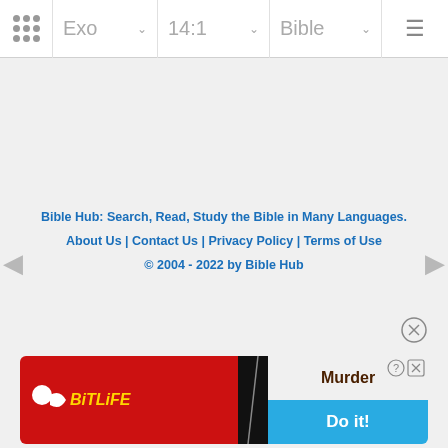Exo  14:1  Bible
Bible Hub: Search, Read, Study the Bible in Many Languages.
About Us | Contact Us | Privacy Policy | Terms of Use
© 2004 - 2022 by Bible Hub
[Figure (screenshot): BitLife advertisement banner with red background, sperm icon, yellow BitLife text, murder game promotion with 'Do it!' blue button]